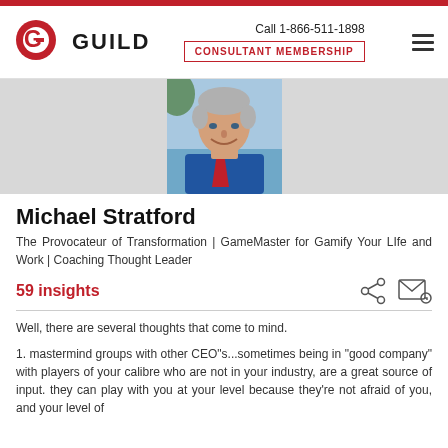[Figure (logo): Guild logo with red G icon and bold GUILD text]
Call 1-866-511-1898
CONSULTANT MEMBERSHIP
[Figure (photo): Headshot of Michael Stratford, a man with grey hair wearing a blue shirt and red tie, smiling outdoors near water]
Michael Stratford
The Provocateur of Transformation | GameMaster for Gamify Your LIfe and Work | Coaching Thought Leader
59 insights
Well, there are several thoughts that come to mind.
1.  mastermind groups with other CEO"s...sometimes being in "good company" with players of your calibre who are not in your industry, are a great source of input. they can play with you at your level because they're not afraid of you, and your level of